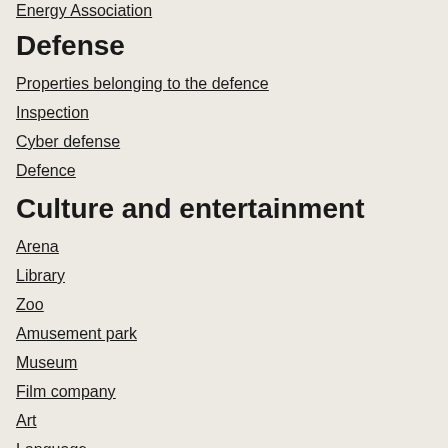Energy Association
Defense
Properties belonging to the defence
Inspection
Cyber defense
Defence
Culture and entertainment
Arena
Library
Zoo
Amusement park
Museum
Film company
Art
Language